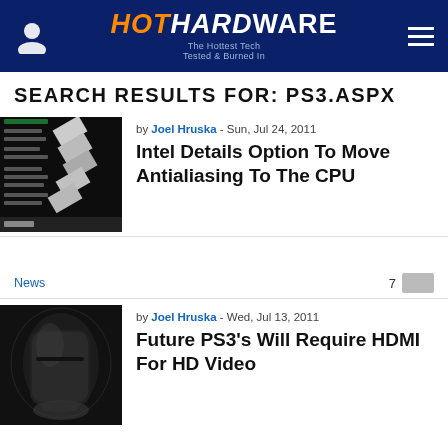HotHardware - The Hottest Tech Tested & Burned In
SEARCH RESULTS FOR: PS3.ASPX
[Figure (screenshot): Thumbnail screenshot showing Intel Anti-Aliasing demo with diagonal white boxes on dark background]
by Joel Hruska - Sun, Jul 24, 2011
Intel Details Option To Move Antialiasing To The CPU
News  7
[Figure (photo): Photo of a PlayStation 3 console (fat model) in dark dramatic lighting with controller]
by Joel Hruska - Wed, Jul 13, 2011
Future PS3's Will Require HDMI For HD Video